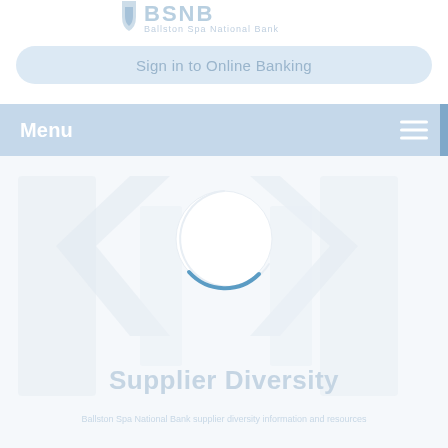[Figure (logo): Ballston Spa National Bank logo with shield icon and text]
Sign in to Online Banking
Menu
[Figure (other): Loading spinner circle with blue arc, partial circle indicating loading state]
Supplier Diversity
Ballston Spa National Bank supplier diversity page loading